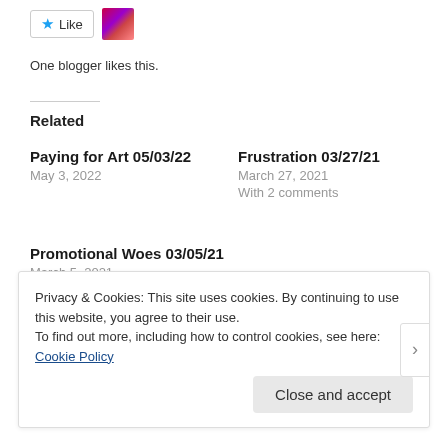One blogger likes this.
Related
Paying for Art 05/03/22
May 3, 2022
Frustration 03/27/21
March 27, 2021
With 2 comments
Promotional Woes 03/05/21
March 5, 2021
Privacy & Cookies: This site uses cookies. By continuing to use this website, you agree to their use.
To find out more, including how to control cookies, see here: Cookie Policy